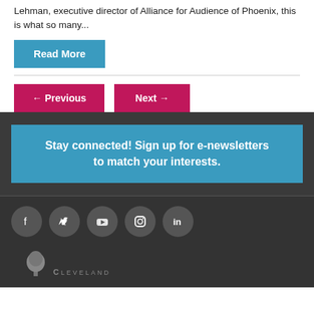Lehman, executive director of Alliance for Audience of Phoenix, this is what so many...
Read More
← Previous
Next →
Stay connected! Sign up for e-newsletters to match your interests.
[Figure (other): Social media icons: Facebook, Twitter, YouTube, Instagram, LinkedIn in gray circles]
[Figure (logo): Cleveland logo with tree icon]